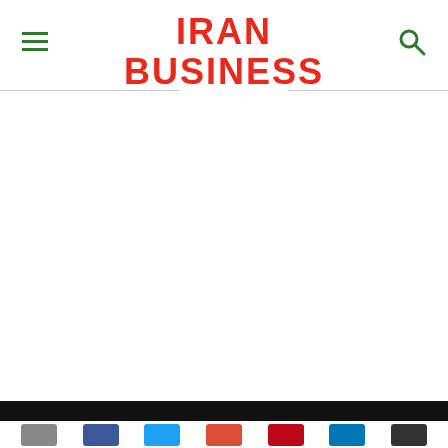IRAN BUSINESS PORTAL
[Figure (logo): Iran Business Portal logo with red text 'IRAN BUSINESS' on top and green 'PORTAL' with globe icon below, hamburger menu icon on left, search icon on right]
Social sharing buttons bar at bottom